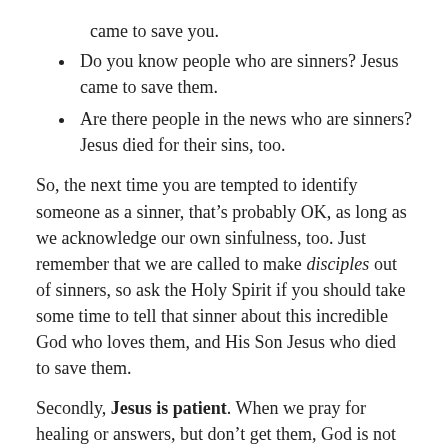came to save you.
Do you know people who are sinners?  Jesus came to save them.
Are there people in the news who are sinners?  Jesus died for their sins, too.
So, the next time you are tempted to identify someone as a sinner, that’s probably OK, as long as we acknowledge our own sinfulness, too.  Just remember that we are called to make disciples out of sinners, so ask the Holy Spirit if you should take some time to tell that sinner about this incredible God who loves them, and His Son Jesus who died to save them.
Secondly, Jesus is patient.  When we pray for healing or answers, but don’t get them, God is not slow to answer.  He just knows the bigger picture.  When we pray for